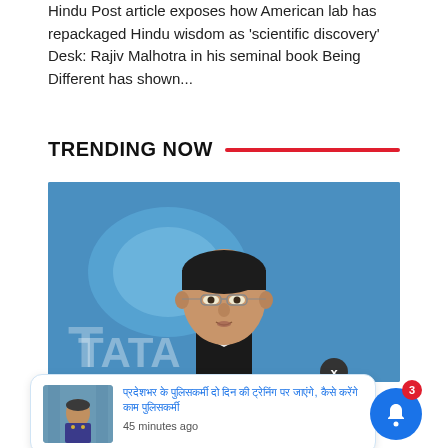Hindu Post article exposes how American lab has repackaged Hindu wisdom as 'scientific discovery' Desk: Rajiv Malhotra in his seminal book Being Different has shown...
TRENDING NOW
[Figure (photo): Photo of a man in glasses speaking at a podium with a blue Tata logo background]
Palghar
[Figure (screenshot): Notification popup with thumbnail of a police officer, Hindi text headline, and timestamp '45 minutes ago']
PM Narendra Modi calls his demise shocking, Rahul Gandhi too